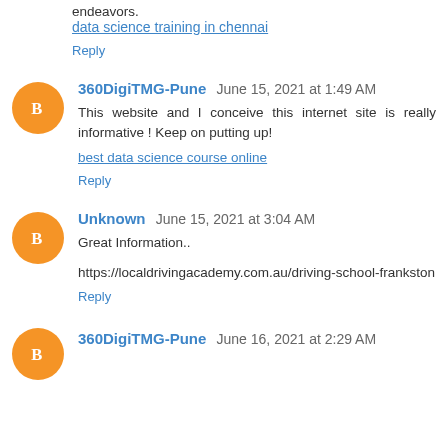endeavors.
data science training in chennai
Reply
360DigiTMG-Pune  June 15, 2021 at 1:49 AM
This website and I conceive this internet site is really informative ! Keep on putting up!
best data science course online
Reply
Unknown  June 15, 2021 at 3:04 AM
Great Information..
https://localdrivingacademy.com.au/driving-school-frankston
Reply
360DigiTMG-Pune  June 16, 2021 at 2:29 AM